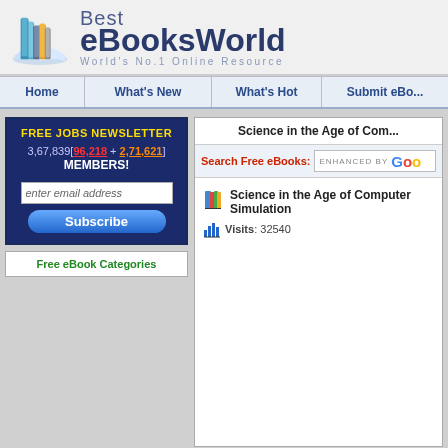[Figure (logo): Best eBooksWorld logo with stacked books illustration and tagline 'World's No.1 Online Resource']
Home | What's New | What's Hot | Submit eBo...
FREE JOBS NEWSLETTER
3,67,839[96,218 + 2,71,621] MEMBERS!
enter email address
Subscribe
Free eBook Categories
Science in the Age of Com...
Search Free eBooks: ENHANCED BY Google
Science in the Age of Computer Simulation
Visits: 32540